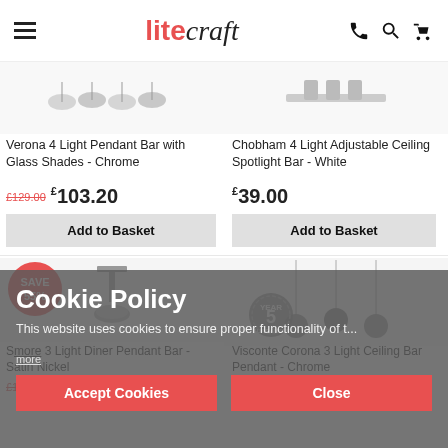litecraft
[Figure (photo): Product thumbnail row - ceiling light pendants]
Verona 4 Light Pendant Bar with Glass Shades - Chrome
£129.00  £103.20
Add to Basket
Chobham 4 Light Adjustable Ceiling Spotlight Bar - White
£39.00
Add to Basket
[Figure (photo): SAVE 55% badge and pendant light fixture - Smore light diner pendant bar, satin nickel]
Smore 3 Light Diner Pendant Bar - Satin Nickel
£109.00  £49.00
[Figure (photo): Visconte Corona 3 Light Ceiling Bar Pendant Chrome with 5 year guarantee badge]
Visconte Corona 3 Light Ceiling Bar Pendant - Chrome
£485.00
Cookie Policy
This website uses cookies to ensure proper functionality of t...
Accept Cookies
Close